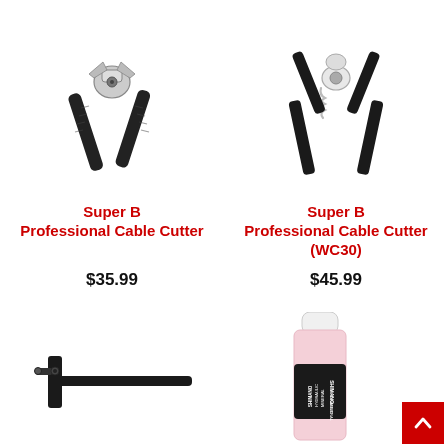[Figure (photo): Super B Professional Cable Cutter tool with black handles, plier-style]
[Figure (photo): Super B Professional Cable Cutter WC30 with black handles and spring mechanism]
Super B Professional Cable Cutter
$35.99
Super B Professional Cable Cutter (WC30)
$45.99
[Figure (photo): Black bicycle cable guide/stop tool, bottom portion visible]
[Figure (photo): Shimano Hydraulic Mineral Oil bottle, partially visible]
[Figure (other): Back to top button, red square with white upward chevron]